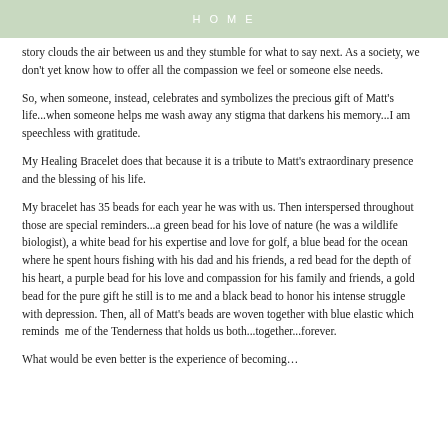HOME
story clouds the air between us and they stumble for what to say next. As a society, we don't yet know how to offer all the compassion we feel or someone else needs.
So, when someone, instead, celebrates and symbolizes the precious gift of Matt's life...when someone helps me wash away any stigma that darkens his memory...I am speechless with gratitude.
My Healing Bracelet does that because it is a tribute to Matt's extraordinary presence and the blessing of his life.
My bracelet has 35 beads for each year he was with us. Then interspersed throughout those are special reminders...a green bead for his love of nature (he was a wildlife biologist), a white bead for his expertise and love for golf, a blue bead for the ocean where he spent hours fishing with his dad and his friends, a red bead for the depth of his heart, a purple bead for his love and compassion for his family and friends, a gold bead for the pure gift he still is to me and a black bead to honor his intense struggle with depression. Then, all of Matt's beads are woven together with blue elastic which reminds me of the Tenderness that holds us both...together...forever.
What would be even better is the experience of becoming…